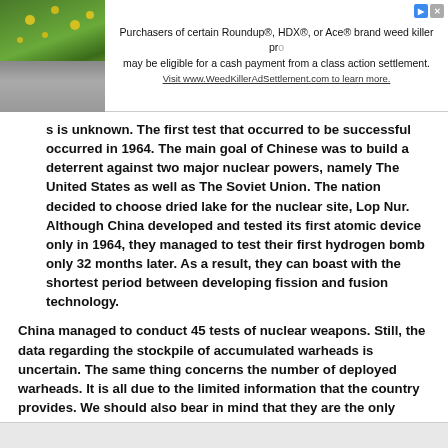[Figure (infographic): Advertisement banner: image of stones/plants on left, text about Roundup/HDX/Ace weed killer class action settlement on right, with visit URL www.WeedKillerAdSettlement.com]
s is unknown. The first test that occurred to be successful occurred in 1964. The main goal of Chinese was to build a deterrent against two major nuclear powers, namely The United States as well as The Soviet Union. The nation decided to choose dried lake for the nuclear site, Lop Nur. Although China developed and tested its first atomic device only in 1964, they managed to test their first hydrogen bomb only 32 months later. As a result, they can boast with the shortest period between developing fission and fusion technology.
China managed to conduct 45 tests of nuclear weapons. Still, the data regarding the stockpile of accumulated warheads is uncertain. The same thing concerns the number of deployed warheads. It is all due to the limited information that the country provides. We should also bear in mind that they are the only country out of five nuclear-weapon states under the NPT that does not give a positive security assurance.